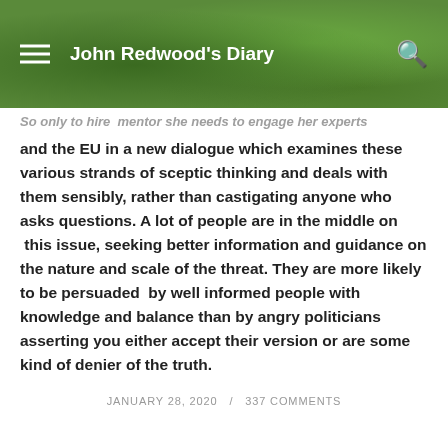John Redwood's Diary
So only to hire  mentor she needs to engage her experts and the EU in a new dialogue which examines these various strands of sceptic thinking and deals with them sensibly, rather than castigating anyone who asks questions. A lot of people are in the middle on  this issue, seeking better information and guidance on the nature and scale of the threat. They are more likely to be persuaded  by well informed people with knowledge and balance than by angry politicians asserting you either accept their version or are some kind of denier of the truth.
JANUARY 28, 2020  /  337 COMMENTS